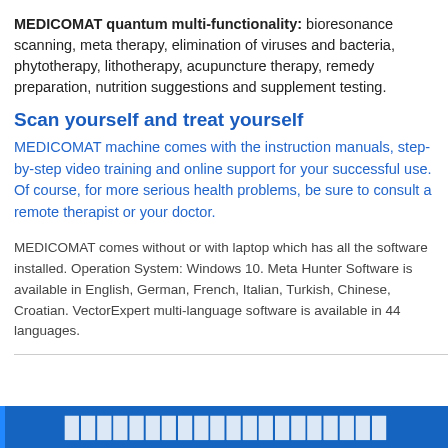MEDICOMAT quantum multi-functionality: bioresonance scanning, meta therapy, elimination of viruses and bacteria, phytotherapy, lithotherapy, acupuncture therapy, remedy preparation, nutrition suggestions and supplement testing.
Scan yourself and treat yourself
MEDICOMAT machine comes with the instruction manuals, step-by-step video training and online support for your successful use. Of course, for more serious health problems, be sure to consult a remote therapist or your doctor.
MEDICOMAT comes without or with laptop which has all the software installed. Operation System: Windows 10. Meta Hunter Software is available in English, German, French, Italian, Turkish, Chinese, Croatian. VectorExpert multi-language software is available in 44 languages.
[Figure (other): Blue banner bar at the bottom of the page with partial white bold text visible]